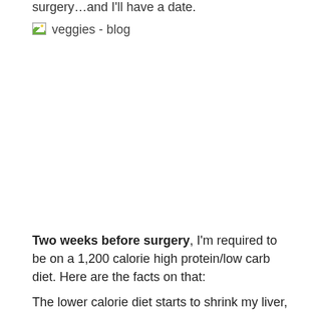surgery…and I'll have a date.
[Figure (photo): Broken image placeholder labeled 'veggies - blog']
Two weeks before surgery, I'm required to be on a 1,200 calorie high protein/low carb diet. Here are the facts on that:
The lower calorie diet starts to shrink my liver, which is